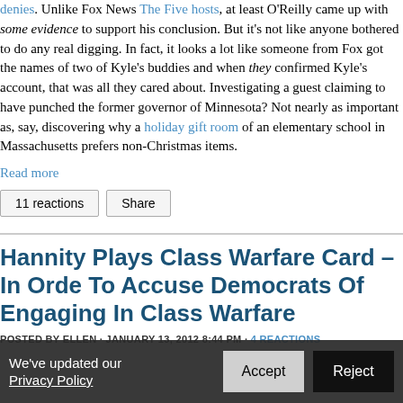denies. Unlike Fox News The Five hosts, at least O'Reilly came up with some evidence to support his conclusion. But it's not like anyone bothered to do any real digging. In fact, it looks a lot like someone from Fox got the names of two of Kyle's buddies and when they confirmed Kyle's account, that was all they cared about. Investigating a guest claiming to have punched the former governor of Minnesota? Not nearly as important as, say, discovering why a holiday gift room of an elementary school in Massachusetts prefers non-Christmas items.
Read more
11 reactions   Share
Hannity Plays Class Warfare Card – In Order To Accuse Democrats Of Engaging In Class Warfare
POSTED BY ELLEN · JANUARY 13, 2012 8:44 PM · 4 REACTIONS
We've updated our Privacy Policy   Accept   Reject